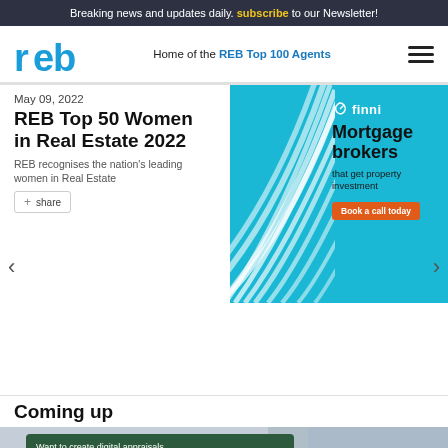Breaking news and updates daily. subscribe to our Newsletter!
[Figure (logo): REB logo - blue stylized letters 'reb']
Home of the REB Top 100 Agents
May 09, 2022
REB Top 50 Women in Real Estate 2022
REB recognises the nation's leading women in Real Estate
[Figure (infographic): Finni mortgage brokers advertisement - teal background with white swirl lines on left, text 'Mortgage brokers that get property investment', orange CTA button 'Book a call today']
Coming up
[Figure (infographic): Pricefinder Agent Solutions advertisement - dark green box with white text 'Want to create digital appraisals that will stand out? There's a solution for that.' with green 'Get Pricefinder' button, on grey background with building image]